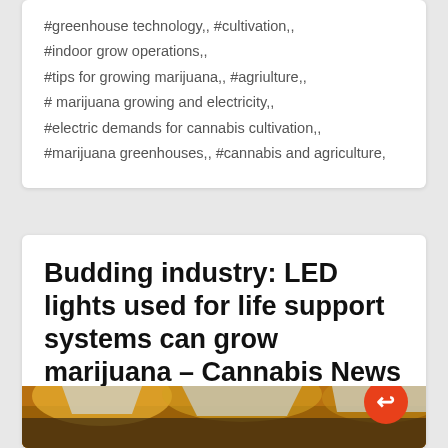#greenhouse technology,, #cultivation,, #indoor grow operations,, #tips for growing marijuana,, #agriulture,, # marijuana growing and electricity,, #electric demands for cannabis cultivation,, #marijuana greenhouses,, #cannabis and agriculture,
Budding industry: LED lights used for life support systems can grow marijuana – Cannabis News
TUESDAY, 13 SEPTEMBER 2016   EDITOR IN CHIEF   HI-TECH
[Figure (photo): Photograph of LED grow lights illuminating a cannabis cultivation area, warm yellow-orange lighting visible]